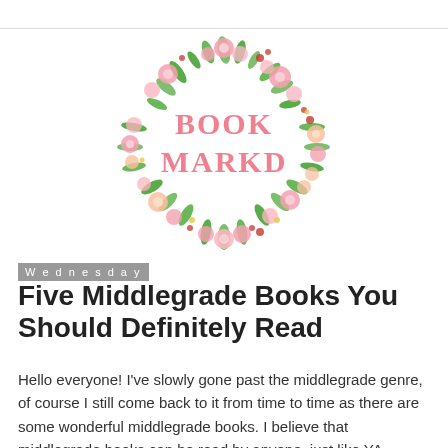[Figure (logo): Book Markd logo: pink cursive text reading 'BOOK MARKD' surrounded by a watercolor floral wreath of pink flowers, green leaves, and small berries]
Wednesday
Five Middlegrade Books You Should Definitely Read
Hello everyone! I've slowly gone past the middlegrade genre, of course I still come back to it from time to time as there are some wonderful middlegrade books. I believe that middlegrade books can be read by anyone, just like YA,